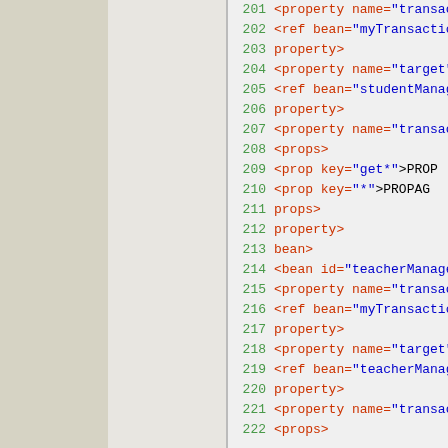[Figure (screenshot): XML/Spring bean configuration code listing with line numbers 201-222, showing property and bean definitions with XML syntax highlighting in green (line numbers), red (XML tags and attributes), and blue (attribute values).]